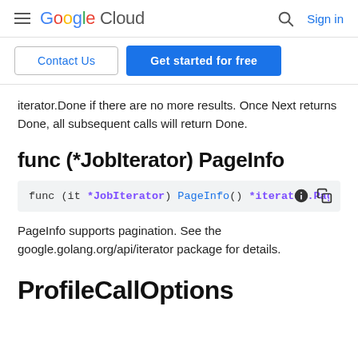Google Cloud — Sign in
Contact Us | Get started for free
iterator.Done if there are no more results. Once Next returns Done, all subsequent calls will return Done.
func (*JobIterator) PageInfo
func (it *JobIterator) PageInfo() *iterator.PageI
PageInfo supports pagination. See the google.golang.org/api/iterator package for details.
ProfileCallOptions